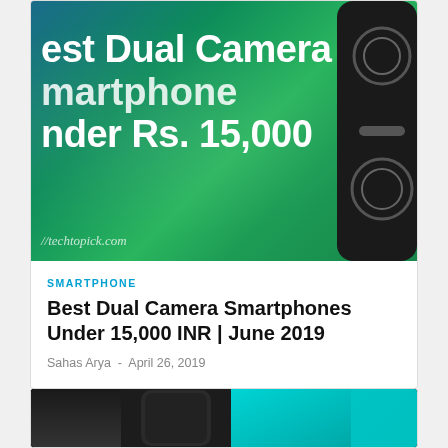[Figure (photo): Hero banner image with gradient background (teal to green) showing text 'Best Dual Camera Smartphones Under Rs. 15,000' with a phone graphic on the right and techtopick.com watermark]
SMARTPHONE
Best Dual Camera Smartphones Under 15,000 INR | June 2019
Sahas Arya - April 26, 2019
[Figure (photo): Bottom card showing three smartphone thumbnails side by side — dark phone on left, dark phone center, teal/colorful phone on right]